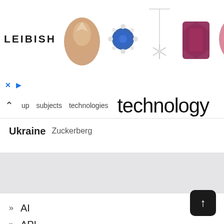[Figure (screenshot): LEIBISH jewelry advertisement banner showing gemstones and jewelry including a brown diamond, blue sapphire ring, pendant necklace, red gemstone, and pink oval diamond]
up subjects technologies technology
Ukraine Zuckerberg
» AI
» API
» Blockchain
» Cloud